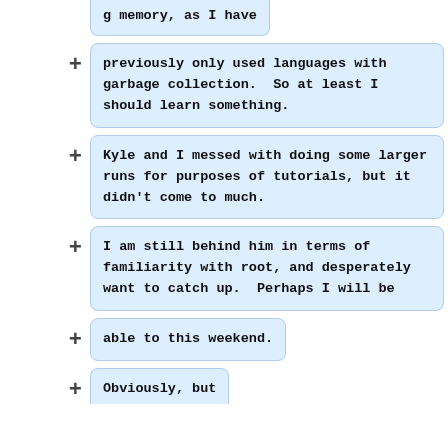g memory, as I have
previously only used languages with garbage collection.  So at least I should learn something.
Kyle and I messed with doing some larger runs for purposes of tutorials, but it didn't come to much.
I am still behind him in terms of familiarity with root, and desperately want to catch up.  Perhaps I will be
able to this weekend.
Obviously, but...